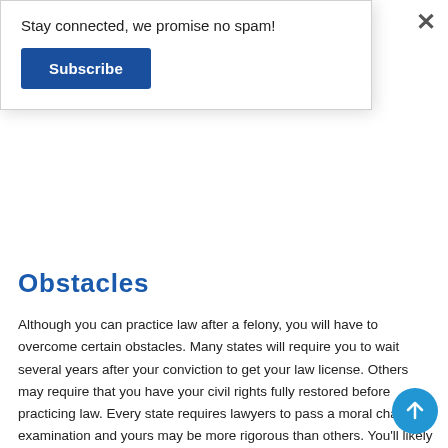Stay connected, we promise no spam!
Subscribe
Obstacles
Although you can practice law after a felony, you will have to overcome certain obstacles. Many states will require you to wait several years after your conviction to get your law license. Others may require that you have your civil rights fully restored before practicing law. Every state requires lawyers to pass a moral character examination and yours may be more rigorous than others. You'll likely need to provide character references along with evidence that you're actively working towards improving yourself. This